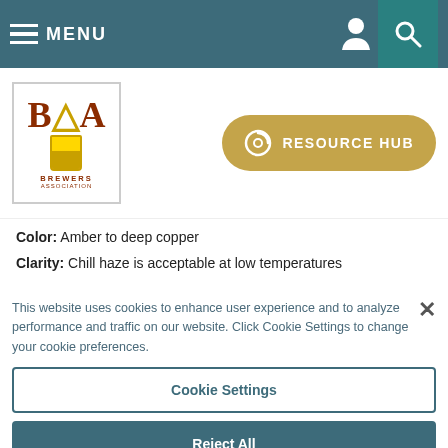MENU
[Figure (logo): Brewers Association logo with BA initials and beer glass illustration]
RESOURCE HUB
Color: Amber to deep copper
Clarity: Chill haze is acceptable at low temperatures
This website uses cookies to enhance user experience and to analyze performance and traffic on our website. Click Cookie Settings to change your cookie preferences.
Cookie Settings
Reject All
Accept All Cookies